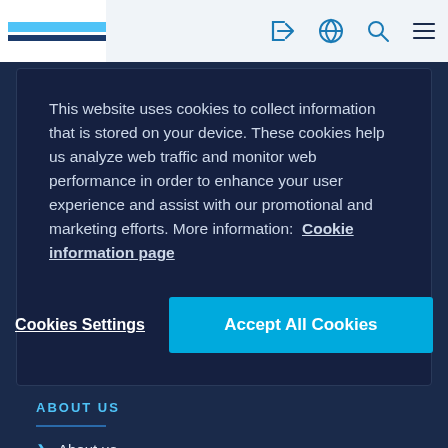[Figure (screenshot): Website header bar with logo (blue and dark stripes) on the left and navigation icons (login arrow, globe, search, hamburger menu) on the right on a light grey background]
This website uses cookies to collect information that is stored on your device. These cookies help us analyze web traffic and monitor web performance in order to enhance your user experience and assist with our promotional and marketing efforts. More information:  Cookie information page
Cookies Settings
Accept All Cookies
ABOUT US
About us